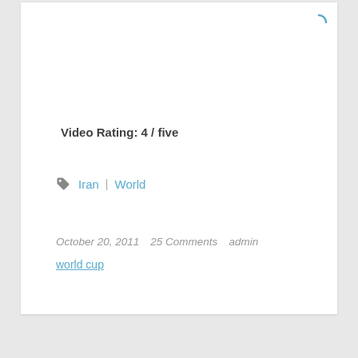Video Rating: 4 / five
Iran   World
October 20, 2011   25 Comments   admin
world cup